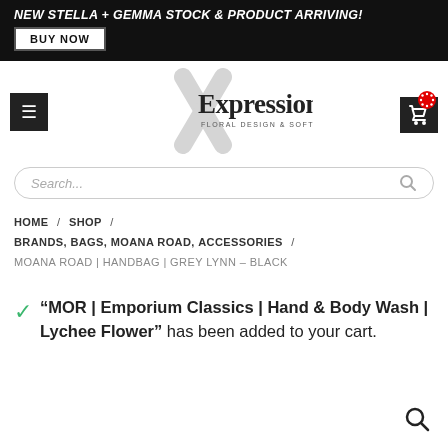NEW STELLA + GEMMA STOCK & PRODUCT ARRIVING!
BUY NOW
[Figure (logo): Expressions Floral Design & Software logo with stylized X]
Search...
HOME / SHOP / BRANDS, BAGS, MOANA ROAD, ACCESSORIES / MOANA ROAD | HANDBAG | GREY LYNN – BLACK
“MOR | Emporium Classics | Hand & Body Wash | Lychee Flower” has been added to your cart.